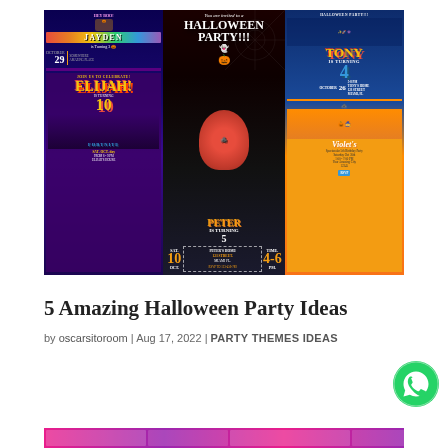[Figure (illustration): Collage of three Halloween/birthday party invitation designs: Left panel shows Pokémon-themed 'Jayden' birthday and Fortnite-themed 'Elijah' turning 10 invitations. Middle panel shows Spider-Man Halloween party invitation for Peter turning 5 on Oct 10. Right panel shows Toy Story themed 'Tony turning 4' and Peppa Pig themed 'Violet' birthday party invitations.]
5 Amazing Halloween Party Ideas
by oscarsitoroom | Aug 17, 2022 | PARTY THEMES IDEAS
[Figure (illustration): Bottom strip showing partial view of more party invitation designs with pink/purple gradient background.]